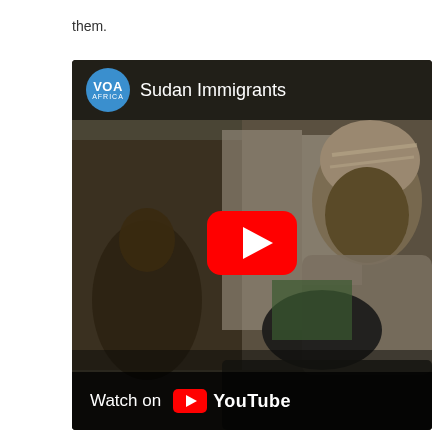them.
[Figure (screenshot): Embedded YouTube video thumbnail showing a VOA Africa video titled 'Sudan Immigrants'. The thumbnail shows African men in what appears to be a market or workshop setting. A large red YouTube play button is centered on the video. The top-left shows the VOA Africa logo (blue circle with 'VOA' and 'AFRICA' text) and the title 'Sudan Immigrants'. A bottom bar shows 'Watch on YouTube'.]